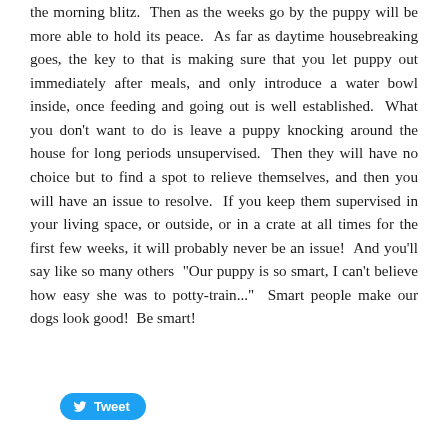the morning blitz.  Then as the weeks go by the puppy will be more able to hold its peace.  As far as daytime housebreaking goes, the key to that is making sure that you let puppy out immediately after meals, and only introduce a water bowl inside, once feeding and going out is well established.  What you don't want to do is leave a puppy knocking around the house for long periods unsupervised.  Then they will have no choice but to find a spot to relieve themselves, and then you will have an issue to resolve.  If you keep them supervised in your living space, or outside, or in a crate at all times for the first few weeks, it will probably never be an issue!  And you'll say like so many others  "Our puppy is so smart, I can't believe how easy she was to potty-train..."  Smart people make our dogs look good!  Be smart!
[Figure (other): Twitter Tweet button]